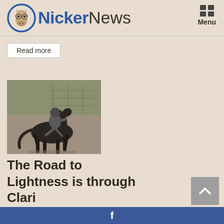NickerNews
Read more
[Figure (photo): A rider on a dark horse in an indoor arena with metal gate fencing in the background]
The Road to Lightness is through Clar...
f